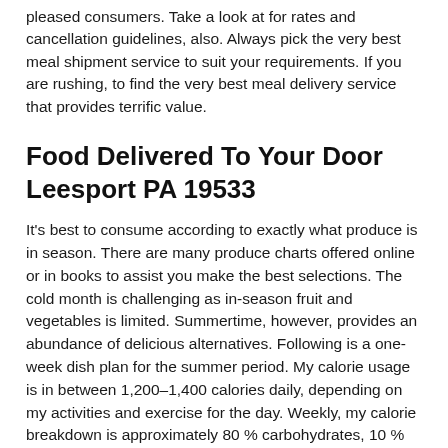pleased consumers. Take a look at for rates and cancellation guidelines, also. Always pick the very best meal shipment service to suit your requirements. If you are rushing, to find the very best meal delivery service that provides terrific value.
Food Delivered To Your Door Leesport PA 19533
It's best to consume according to exactly what produce is in season. There are many produce charts offered online or in books to assist you make the best selections. The cold month is challenging as in-season fruit and vegetables is limited. Summertime, however, provides an abundance of delicious alternatives. Following is a one-week dish plan for the summer period. My calorie usage is in between 1,200–1,400 calories daily, depending on my activities and exercise for the day. Weekly, my calorie breakdown is approximately 80 % carbohydrates, 10 % protein, and 10 %